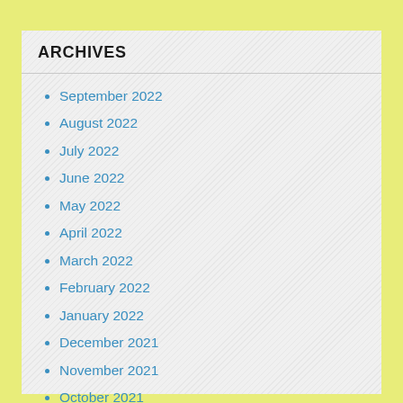ARCHIVES
September 2022
August 2022
July 2022
June 2022
May 2022
April 2022
March 2022
February 2022
January 2022
December 2021
November 2021
October 2021
September 2021
August 2021
July 2021
June 2021